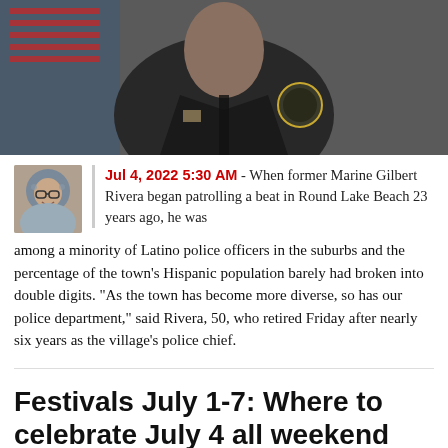[Figure (photo): Person in dark police uniform with badge/patch visible on shoulder, photographed from chest up against an American flag background]
Jul 4, 2022 5:30 AM - When former Marine Gilbert Rivera began patrolling a beat in Round Lake Beach 23 years ago, he was among a minority of Latino police officers in the suburbs and the percentage of the town's Hispanic population barely had broken into double digits. "As the town has become more diverse, so has our police department," said Rivera, 50, who retired Friday after nearly six years as the village's police chief.
Festivals July 1-7: Where to celebrate July 4 all weekend long